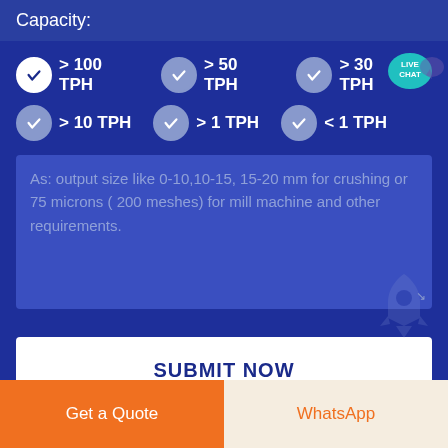Capacity:
> 100 TPH
> 50 TPH
> 30 TPH
> 10 TPH
> 1 TPH
< 1 TPH
As: output size like 0-10,10-15, 15-20 mm for crushing or 75 microns ( 200 meshes) for mill machine and other requirements.
SUBMIT NOW
Get a Quote
WhatsApp